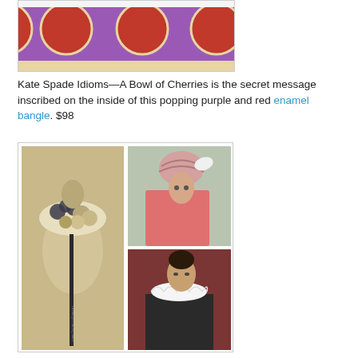[Figure (photo): Purple and red enamel bangle bracelet with circular red dot pattern on purple background, partial top view cut off]
Kate Spade Idioms—A Bowl of Cherries is the secret message inscribed on the inside of this popping purple and red enamel bangle. $98
[Figure (photo): Collage of three photos: left shows a dress form/mannequin with decorative fabric flower collar and dark ribbon with text; top right shows a woman wearing a pink turban-style hat and pink coat; bottom right shows a woman with dark hair in a bun wearing a white ruffled collar with dark clothing]